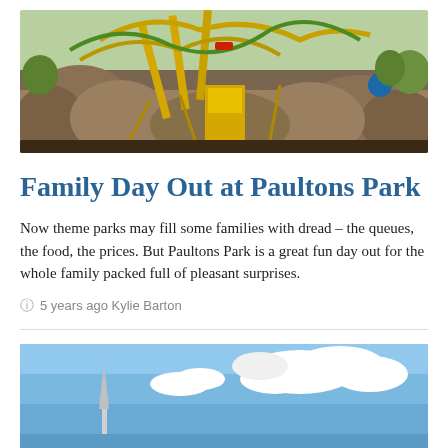[Figure (photo): Roller coaster and theme park ride structure with rocky surroundings at Paultons Park]
Family Day Out at Paultons Park
Now theme parks may fill some families with dread – the queues, the food, the prices. But Paultons Park is a great fun day out for the whole family packed full of pleasant surprises.
5 years ago Kylie Barton
[Figure (photo): Sky with clouds and part of a tall structure visible at bottom left]